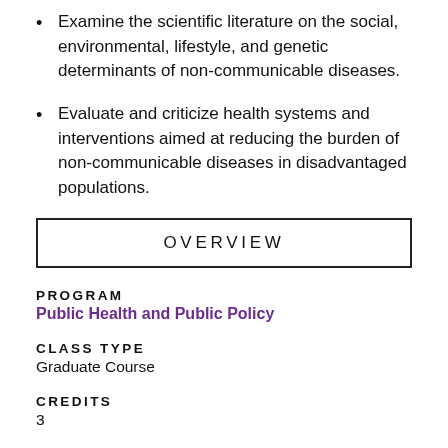Examine the scientific literature on the social, environmental, lifestyle, and genetic determinants of non-communicable diseases.
Evaluate and criticize health systems and interventions aimed at reducing the burden of non-communicable diseases in disadvantaged populations.
OVERVIEW
PROGRAM
Public Health and Public Policy
CLASS TYPE
Graduate Course
CREDITS
3